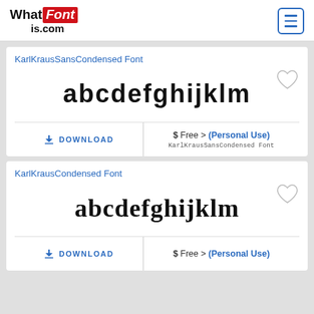WhatFontIs.com
KarlKrausSansCondensed Font
[Figure (illustration): Preview of KarlKrausSansCondensed font showing lowercase letters: abcdefghijklm in condensed sans style]
DOWNLOAD
$ Free > (Personal Use)
KarlKrausSansCondensed Font
KarlKrausCondensed Font
[Figure (illustration): Preview of KarlKrausCondensed font showing lowercase letters: abcdefghijklm in condensed serif style]
DOWNLOAD
$ Free > (Personal Use)